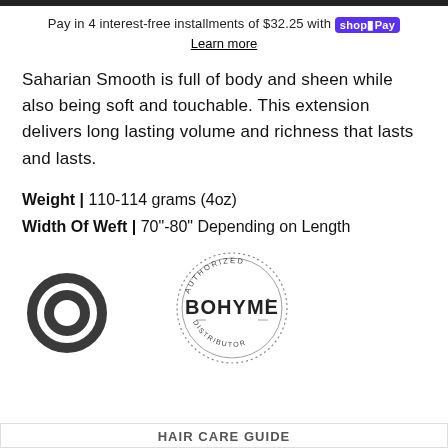Pay in 4 interest-free installments of $32.25 with shopPay
Learn more
Saharian Smooth is full of body and sheen while also being soft and touchable. This extension delivers long lasting volume and richness that lasts and lasts.
Weight | 110-114 grams (4oz)
Width Of Weft | 70"-80" Depending on Length
[Figure (logo): Circular chat/messaging icon in dark gray]
[Figure (logo): Authorized BOHYME Distributor circular stamp logo]
HAIR CARE GUIDE